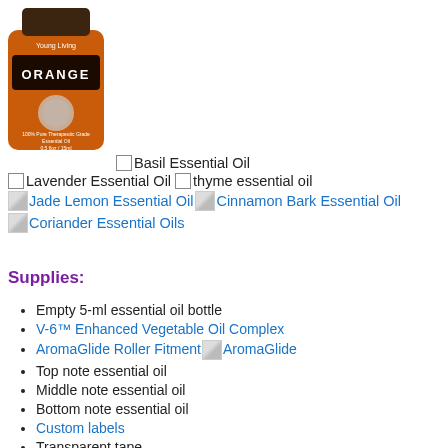[Figure (photo): Young Living Orange essential oil bottle, orange label with brown cap, 100% Pure Therapeutic Grade Essential Oil]
Basil Essential Oil
Lavender Essential Oil
thyme essential oil
Jade Lemon Essential Oil
Cinnamon Bark Essential Oil
Coriander Essential Oils
Supplies:
Empty 5-ml essential oil bottle
V-6™ Enhanced Vegetable Oil Complex
AromaGlide Roller Fitment [AromaGlide image]
Top note essential oil
Middle note essential oil
Bottom note essential oil
Custom labels
Transparent tape